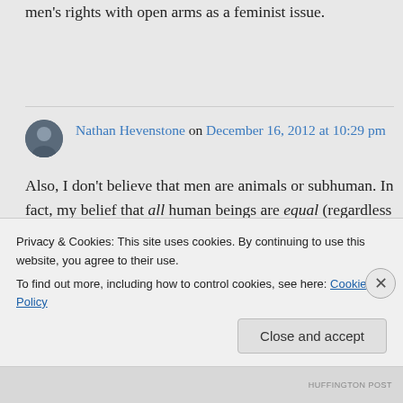men's rights with open arms as a feminist issue.
Nathan Hevenstone on December 16, 2012 at 10:29 pm
Also, I don't believe that men are animals or subhuman. In fact, my belief that all human beings are equal (regardless of race, gender,
Privacy & Cookies: This site uses cookies. By continuing to use this website, you agree to their use.
To find out more, including how to control cookies, see here: Cookie Policy